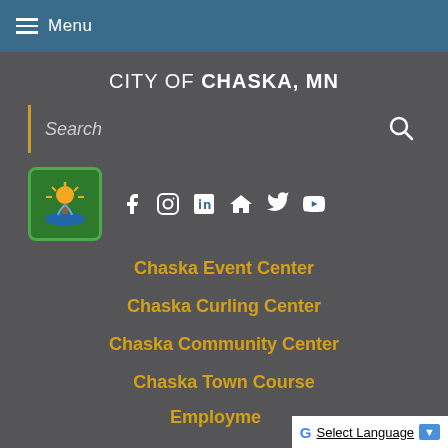Menu
CITY OF CHASKA, MN
Search
[Figure (logo): City of Chaska logo with green background, golden tree/fountain icon, and social media icons (Facebook, Instagram, LinkedIn, house icon, Twitter, YouTube)]
Chaska Event Center
Chaska Curling Center
Chaska Community Center
Chaska Town Course
Employment
Select Language